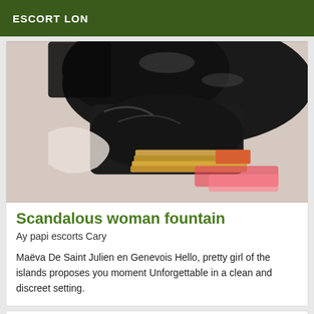ESCORT LON
[Figure (photo): Close-up photo showing black latex/leather clothing and scattered colorful items on a light background]
Scandalous woman fountain
Ay papi escorts Cary
Maëva De Saint Julien en Genevois Hello, pretty girl of the islands proposes you moment Unforgettable in a clean and discreet setting.